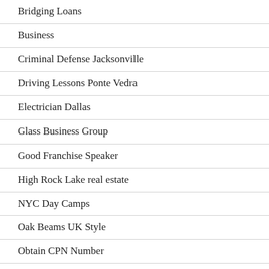Bridging Loans
Business
Criminal Defense Jacksonville
Driving Lessons Ponte Vedra
Electrician Dallas
Glass Business Group
Good Franchise Speaker
High Rock Lake real estate
NYC Day Camps
Oak Beams UK Style
Obtain CPN Number